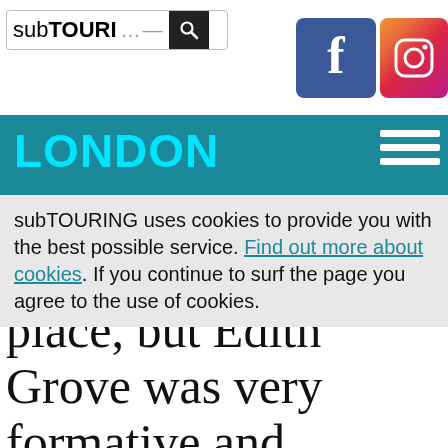subTOURING [search box] [Facebook] [Instagram]
LONDON
subTOURING uses cookies to provide you with the best possible service. Find out more about cookies. If you continue to surf the page you agree to the use of cookies.
place, but Edith Grove was very formative and important in the band